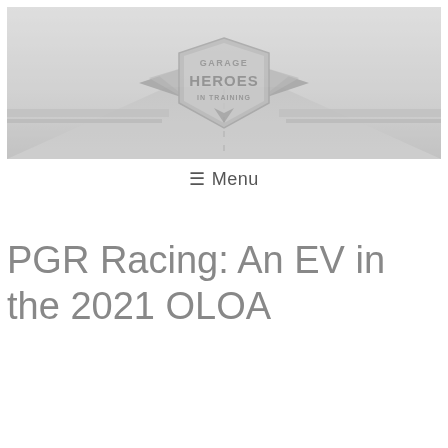[Figure (photo): Website header banner showing a foggy road receding into the distance with a 'Garage Heroes In Training' logo centered over the image. The logo features wings, a shield shape, and bold text.]
≡ Menu
PGR Racing: An EV in the 2021 OLOA